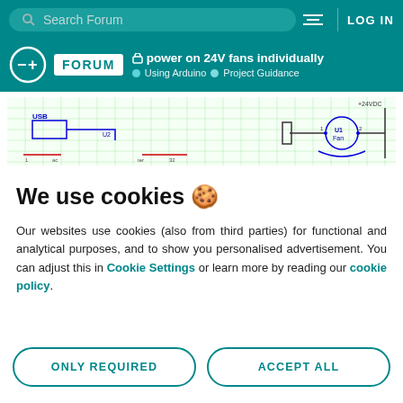Search Forum  LOG IN
power on 24V fans individually
Using Arduino  Project Guidance
[Figure (schematic): Circuit schematic diagram showing USB connection, components labeled U2, U1 Fan, with +24VDC power rail and wiring on a green grid background]
We use cookies 🍪
Our websites use cookies (also from third parties) for functional and analytical purposes, and to show you personalised advertisement. You can adjust this in Cookie Settings or learn more by reading our cookie policy.
ONLY REQUIRED
ACCEPT ALL